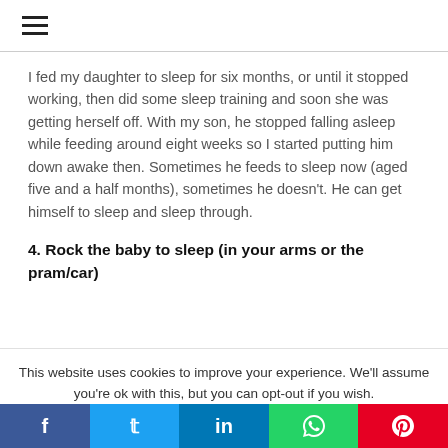☰
I fed my daughter to sleep for six months, or until it stopped working, then did some sleep training and soon she was getting herself off. With my son, he stopped falling asleep while feeding around eight weeks so I started putting him down awake then. Sometimes he feeds to sleep now (aged five and a half months), sometimes he doesn't. He can get himself to sleep and sleep through.
4. Rock the baby to sleep (in your arms or the pram/car)
This website uses cookies to improve your experience. We'll assume you're ok with this, but you can opt-out if you wish.